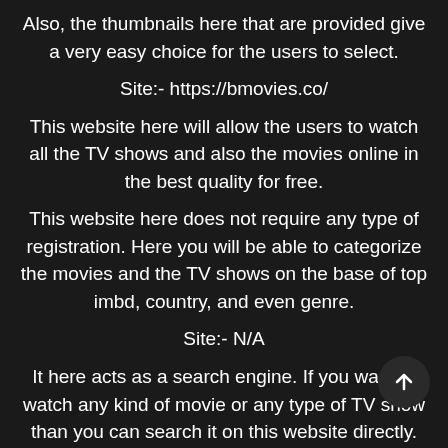Also, the thumbnails here that are provided give a very easy choice for the users to select.
Site:- https://bmovies.co/
This website here will allow the users to watch all the TV shows and also the movies online in the best quality for free.
This website here does not require any type of registration. Here you will be able to categorize the movies and the TV shows on the base of top imbd, country, and even genre.
Site:- N/A
It here acts as a search engine. If you want to watch any kind of movie or any type of TV show than you can search it on this website directly.
Here also the website is filled with amazing content to